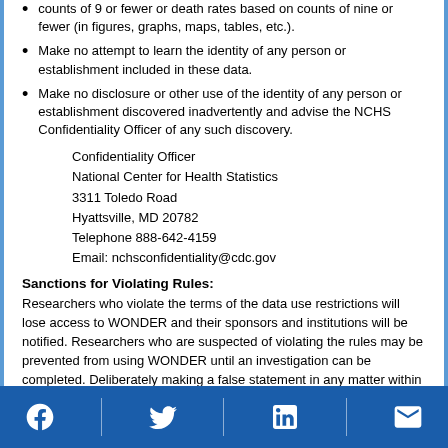counts of 9 or fewer or death rates based on counts of nine or fewer (in figures, graphs, maps, tables, etc.).
Make no attempt to learn the identity of any person or establishment included in these data.
Make no disclosure or other use of the identity of any person or establishment discovered inadvertently and advise the NCHS Confidentiality Officer of any such discovery.
Confidentiality Officer
National Center for Health Statistics
3311 Toledo Road
Hyattsville, MD 20782
Telephone 888-642-4159
Email: nchsconfidentiality@cdc.gov
Sanctions for Violating Rules:
Researchers who violate the terms of the data use restrictions will lose access to WONDER and their sponsors and institutions will be notified. Researchers who are suspected of violating the rules may be prevented from using WONDER until an investigation can be completed. Deliberately making a false statement in any matter within the jurisdiction of any department or agency of the Federal government violates 18 USC 1001 and is punishable by a fine of up to $10,000 or up to 5 years in prison, or both.
Social media icons: Facebook, Twitter, LinkedIn, Email